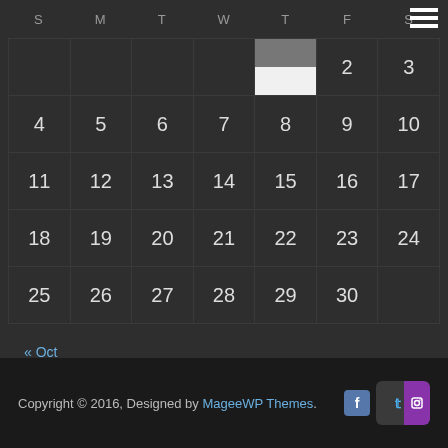| S | M | T | W | T | F | S |
| --- | --- | --- | --- | --- | --- | --- |
|  |  |  |  | 1 | 2 | 3 |
| 4 | 5 | 6 | 7 | 8 | 9 | 10 |
| 11 | 12 | 13 | 14 | 15 | 16 | 17 |
| 18 | 19 | 20 | 21 | 22 | 23 | 24 |
| 25 | 26 | 27 | 28 | 29 | 30 |  |
« Oct
Copyright © 2016, Designed by MageeWP Themes.